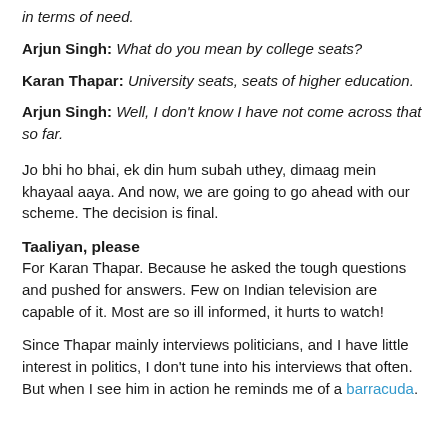in terms of need.
Arjun Singh: What do you mean by college seats?
Karan Thapar: University seats, seats of higher education.
Arjun Singh: Well, I don't know I have not come across that so far.
Jo bhi ho bhai, ek din hum subah uthey, dimaag mein khayaal aaya. And now, we are going to go ahead with our scheme. The decision is final.
Taaliyan, please
For Karan Thapar. Because he asked the tough questions and pushed for answers. Few on Indian television are capable of it. Most are so ill informed, it hurts to watch!
Since Thapar mainly interviews politicians, and I have little interest in politics, I don't tune into his interviews that often. But when I see him in action he reminds me of a barracuda.